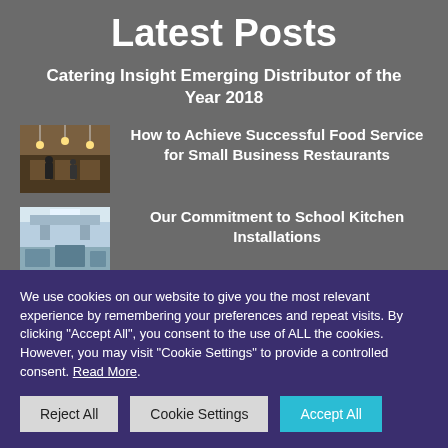Latest Posts
Catering Insight Emerging Distributor of the Year 2018
[Figure (photo): Thumbnail photo of a restaurant interior with hanging lights and staff behind counter]
How to Achieve Successful Food Service for Small Business Restaurants
[Figure (photo): Thumbnail photo of a school kitchen installation interior]
Our Commitment to School Kitchen Installations
We use cookies on our website to give you the most relevant experience by remembering your preferences and repeat visits. By clicking "Accept All", you consent to the use of ALL the cookies. However, you may visit "Cookie Settings" to provide a controlled consent. Read More.